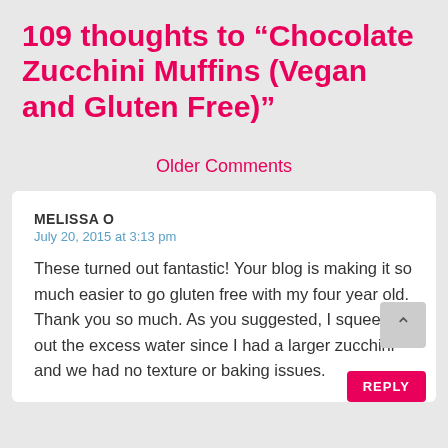109 thoughts to “Chocolate Zucchini Muffins (Vegan and Gluten Free)”
Older Comments
MELISSA O
July 20, 2015 at 3:13 pm
These turned out fantastic! Your blog is making it so much easier to go gluten free with my four year old. Thank you so much. As you suggested, I squeezed out the excess water since I had a larger zucchini and we had no texture or baking issues.
REPLY